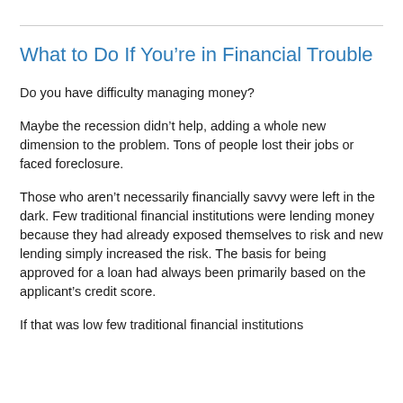What to Do If You’re in Financial Trouble
Do you have difficulty managing money?
Maybe the recession didn’t help, adding a whole new dimension to the problem. Tons of people lost their jobs or faced foreclosure.
Those who aren’t necessarily financially savvy were left in the dark. Few traditional financial institutions were lending money because they had already exposed themselves to risk and new lending simply increased the risk. The basis for being approved for a loan had always been primarily based on the applicant’s credit score.
If that was low few traditional financial institutions